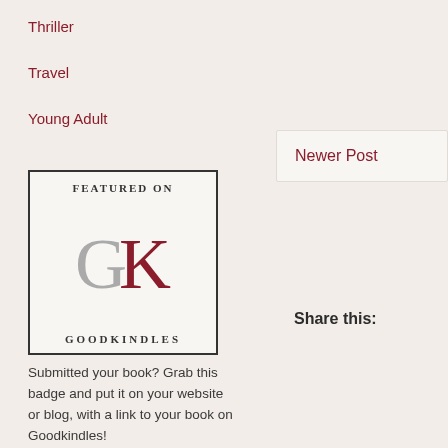Thriller
Travel
Young Adult
[Figure (logo): GoodKindles badge with 'FEATURED ON' text at top, large G and K letters (G in gray, K in dark red), and 'GOODKINDLES' text at bottom, in a bordered box]
Submitted your book? Grab this badge and put it on your website or blog, with a link to your book on Goodkindles!
We recommend
How to be an Attractive Man
Newer Post
Share this: